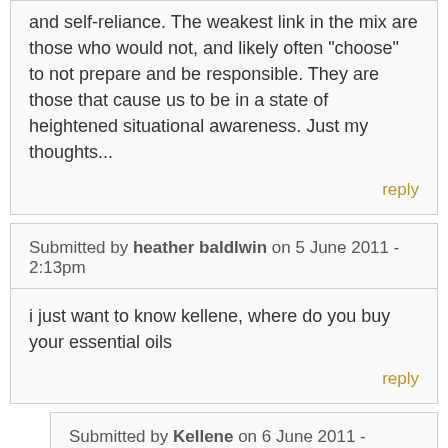and self-reliance. The weakest link in the mix are those who would not, and likely often "choose" to not prepare and be responsible. They are those that cause us to be in a state of heightened situational awareness. Just my thoughts...
reply
Submitted by heather baldlwin on 5 June 2011 - 2:13pm
i just want to know kellene, where do you buy your essential oils
reply
Submitted by Kellene on 6 June 2011 - 9:48am
I just sent you an e-mail, Heather. :-)